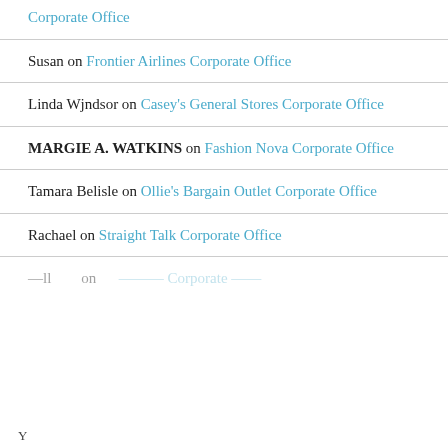Corporate Office (link)
Susan on Frontier Airlines Corporate Office
Linda Wjndsor on Casey's General Stores Corporate Office
MARGIE A. WATKINS on Fashion Nova Corporate Office
Tamara Belisle on Ollie's Bargain Outlet Corporate Office
Rachael on Straight Talk Corporate Office
Bill... on ... Corporate Office (partial, cut off)